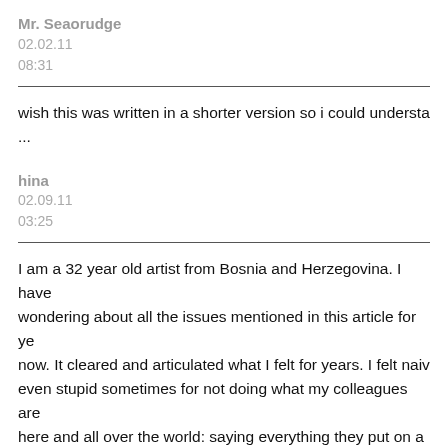Mr. Seaorudge
02.02.11
08:31
wish this was written in a shorter version so i could understa
...
hina
02.09.11
03:25
I am a 32 year old artist from Bosnia and Herzegovina. I have wondering about all the issues mentioned in this article for ye now. It cleared and articulated what I felt for years. I felt naiv even stupid sometimes for not doing what my colleagues are here and all over the world: saying everything they put on a w floor, everything they photograph, video tape, build then sma I have seen so much "art" on the internet, in the galleries, in t magazines that I now have to wonder what happens after the go down? What happens with all those things? Piles of things as we have to support it, otherwise we are not intelligent eno have no culture... We have an expression here: "You have to